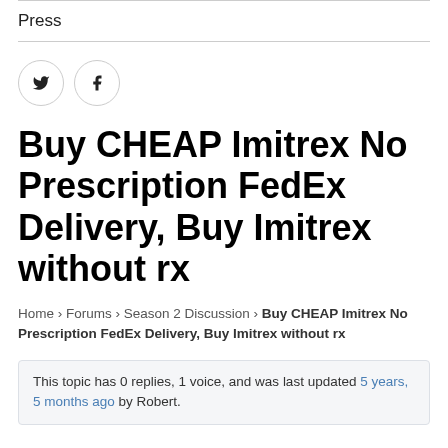Press
[Figure (infographic): Social share icons: Twitter bird icon and Facebook 'f' icon, each in a light gray circle]
Buy CHEAP Imitrex No Prescription FedEx Delivery, Buy Imitrex without rx
Home › Forums › Season 2 Discussion › Buy CHEAP Imitrex No Prescription FedEx Delivery, Buy Imitrex without rx
This topic has 0 replies, 1 voice, and was last updated 5 years, 5 months ago by Robert.